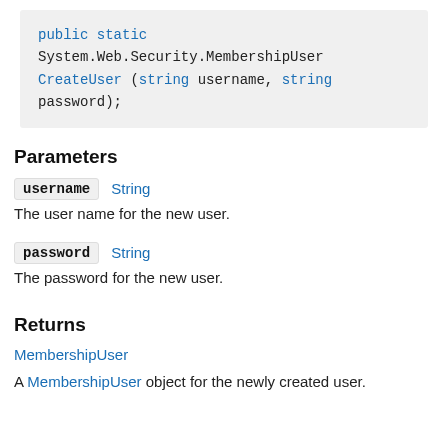public static System.Web.Security.MembershipUser CreateUser (string username, string password);
Parameters
username  String
The user name for the new user.
password  String
The password for the new user.
Returns
MembershipUser
A MembershipUser object for the newly created user.